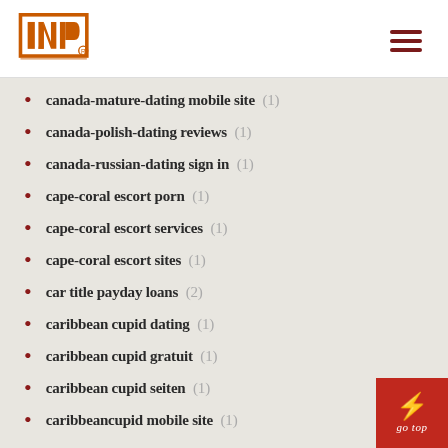INP logo and navigation
canada-mature-dating mobile site (1)
canada-polish-dating reviews (1)
canada-russian-dating sign in (1)
cape-coral escort porn (1)
cape-coral escort services (1)
cape-coral escort sites (1)
car title payday loans (2)
caribbean cupid dating (1)
caribbean cupid gratuit (1)
caribbean cupid seiten (1)
caribbeancupid mobile site (1)